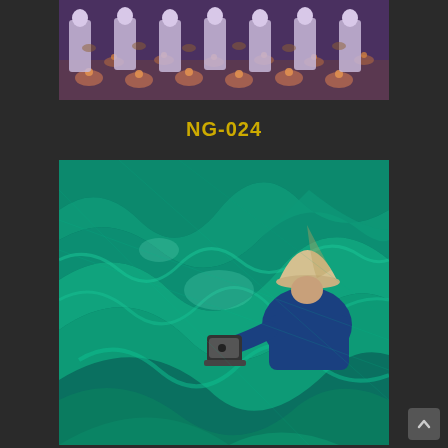[Figure (photo): Rows of robed figures (monks or nuns) in white/purple robes standing among many lit candles on the floor in a dim ceremonial hall setting]
NG-024
[Figure (photo): A person wearing a traditional Vietnamese conical hat (non la) and blue clothing, working with a sewing machine amid enormous billowing green fishing nets spread across the floor]